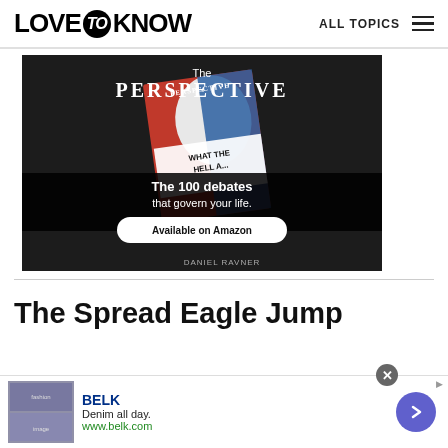LOVE to KNOW  ALL TOPICS
[Figure (photo): Advertisement for 'The Perspective' book by Daniel Ravner showing a red/blue book cover with text 'WHAT THE HELL...' and overlay text 'The 100 debates that govern your life.' with an 'Available on Amazon' button on dark background]
The Spread Eagle Jump
[Figure (infographic): Bottom advertisement banner for BELK showing 'Denim all day. www.belk.com' with small fashion images on left and a purple arrow button on right]